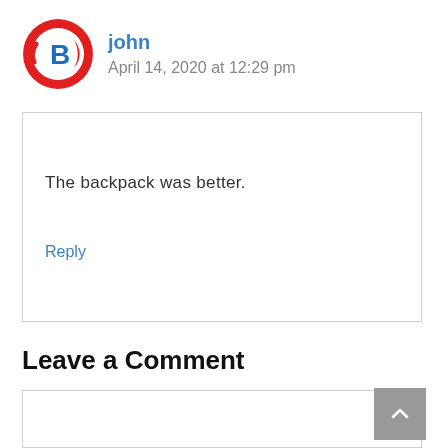[Figure (logo): Circular logo with red outer ring, blue 'B' letter in center on white background]
john
April 14, 2020 at 12:29 pm
The backpack was better.
Reply
Leave a Comment